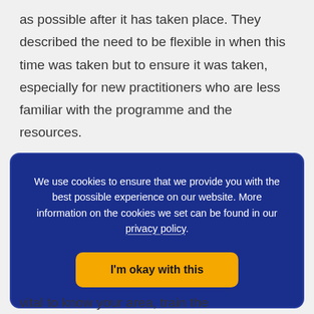as possible after it has taken place. They described the need to be flexible in when this time was taken but to ensure it was taken, especially for new practitioners who are less familiar with the programme and the resources.
We use cookies to ensure that we provide you with the best possible experience on our website. More information on the cookies we set can be found in our privacy policy.
I'm okay with this
vital to know your area, train the